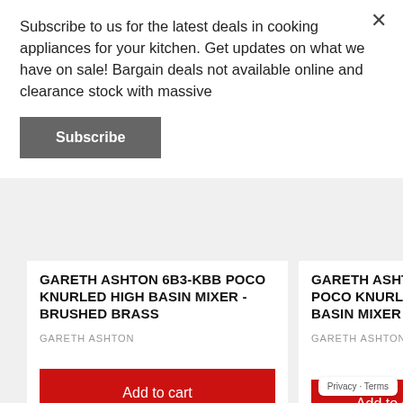Subscribe to us for the latest deals in cooking appliances for your kitchen. Get updates on what we have on sale! Bargain deals not available online and clearance stock with massive
Subscribe
GARETH ASHTON 6B3-KBB POCO KNURLED HIGH BASIN MIXER - BRUSHED BRASS
GARETH ASHTON
Add to cart
GARETH ASHTON POCO KNURLED HIGH BASIN MIXER - B
GARETH ASHTON
Add to c
Privacy · Terms